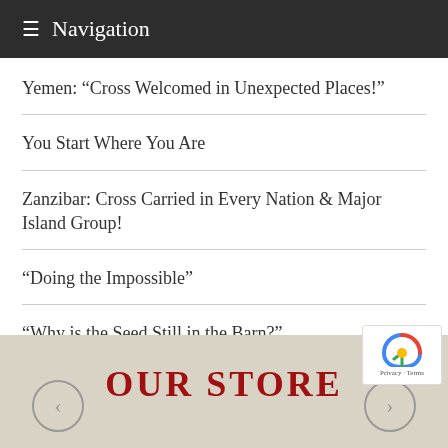≡ Navigation
Yemen: “Cross Welcomed in Unexpected Places!”
You Start Where You Are
Zanzibar: Cross Carried in Every Nation & Major Island Group!
“Doing the Impossible”
“Why is the Seed Still in the Barn?”
OUR STORE